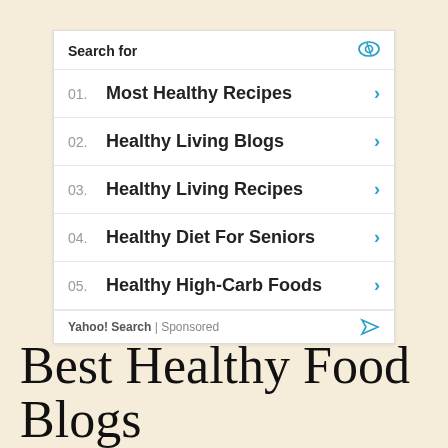Search for
01. Most Healthy Recipes
02. Healthy Living Blogs
03. Healthy Living Recipes
04. Healthy Diet For Seniors
05. Healthy High-Carb Foods
Yahoo! Search | Sponsored
Best Healthy Food Blogs